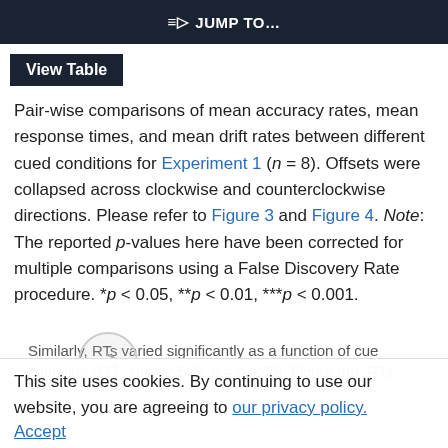JUMP TO…
View Table
Pair-wise comparisons of mean accuracy rates, mean response times, and mean drift rates between different cued conditions for Experiment 1 (n = 8). Offsets were collapsed across clockwise and counterclockwise directions. Please refer to Figure 3 and Figure 4. Note: The reported p-values here have been corrected for multiple comparisons using a False Discovery Rate procedure. *p < 0.05, **p < 0.01, ***p < 0.001.
This site uses cookies. By continuing to use our website, you are agreeing to our privacy policy. Accept
Similarly, RTs varied significantly as a function of cue condition (F[7, 49] = 2.505, p = 0.0278; Figure 3b). RTs